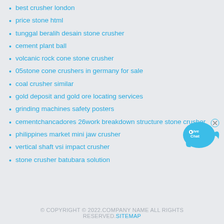best crusher london
price stone html
tunggal beralih desain stone crusher
cement plant ball
volcanic rock cone stone crusher
05stone cone crushers in germany for sale
coal crusher similar
gold deposit and gold ore locating services
grinding machines safety posters
cementchancadores 26work breakdown structure stone crusher
philippines market mini jaw crusher
vertical shaft vsi impact crusher
stone crusher batubara solution
[Figure (illustration): Live Chat bubble icon with fish shape in blue, showing 'Live Chat' text and a small X close button]
© COPYRIGHT © 2022.COMPANY NAME ALL RIGHTS RESERVED. SITEMAP